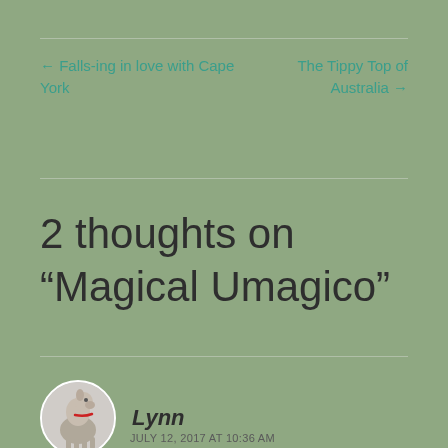← Falls-ing in love with Cape York
The Tippy Top of Australia →
2 thoughts on “Magical Umagico”
Lynn
JULY 12, 2017 AT 10:36 AM